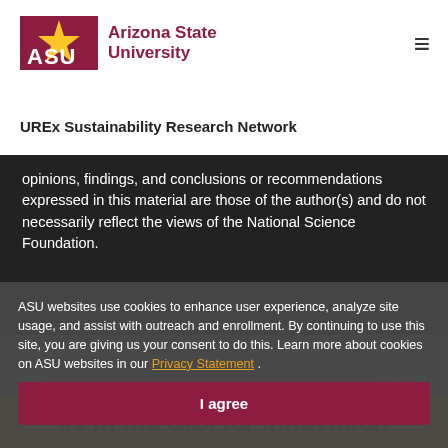ASU Arizona State University | UREx Sustainability Research Network
opinions, findings, and conclusions or recommendations expressed in this material are those of the author(s) and do not necessarily reflect the views of the National Science Foundation.
ASU websites use cookies to enhance user experience, analyze site usage, and assist with outreach and enrollment. By continuing to use this site, you are giving us your consent to do this. Learn more about cookies on ASU websites in our Privacy Statement .
Directory
Maps and Locations
Contact ASU
Jobs
My ASU
I agree
#1 in the U.S. for innovation